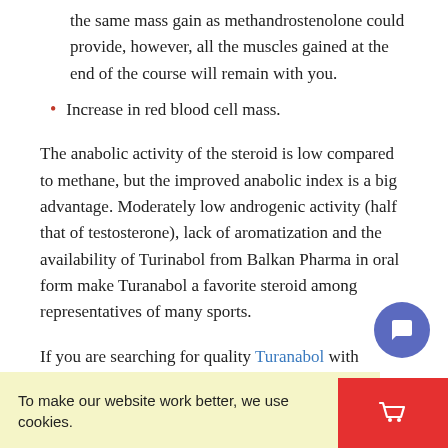the same mass gain as methandrostenolone could provide, however, all the muscles gained at the end of the course will remain with you.
Increase in red blood cell mass.
The anabolic activity of the steroid is low compared to methane, but the improved anabolic index is a big advantage. Moderately low androgenic activity (half that of testosterone), lack of aromatization and the availability of Turinabol from Balkan Pharma in oral form make Turanabol a favorite steroid among representatives of many sports.
If you are searching for quality Turanabol with delivery to the USA, Canada and Europe, we recommend to look at this preparation.
How to take Turanabol